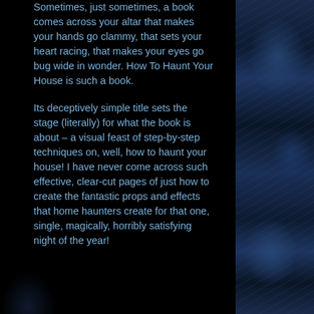Sometimes, just sometimes, a book comes across your altar that makes your hands go clammy, that sets your heart racing, that makes your eyes go bug wide in wonder. How To Haunt Your House is such a book.
Its deceptively simple title sets the stage (literally) for what the book is about – a visual feast of step-by-step techniques on, well, how to haunt your house! I have never come across such effective, clear-cut pages of just how to create the fantastic props and effects that home haunters create for that one, single, magically, horribly satisfying night of the year!
[Figure (photo): Dark blue-tinted image of bare tree branches against a dark background, visible on the right side of the page]